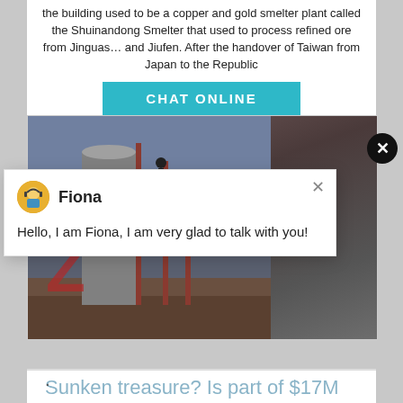the building used to be a copper and gold smelter plant called the Shuinandong Smelter that used to process refined ore from Jinguas… and Jiufen. After the handover of Taiwan from Japan to the Republic
[Figure (screenshot): CHAT ONLINE button in teal/cyan color]
[Figure (photo): Industrial photo of machinery/scaffolding with LIMING watermark and dark sidebar showing Have any requests click here, Que button, 1 in blue circle, Enquiry, limingjlmofen@sina.com]
[Figure (screenshot): Chat popup with avatar of Fiona and message: Hello, I am Fiona, I am very glad to talk with you!]
Sunken treasure? Is part of $17M